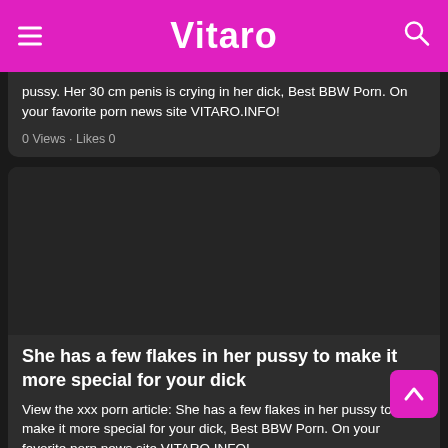Vitaro
pussy. Her 30 cm penis is crying in her dick, Best BBW Porn. On your favorite porn news site VITARO.INFO!
0 Views · Likes 0
[Figure (photo): Dark placeholder image area]
She has a few flakes in her pussy to make it more special for your dick
View the xxx porn article: She has a few flakes in her pussy to make it more special for your dick, Best BBW Porn. On your favorite porn news site VITARO.INFO!
0 Views · Likes 0